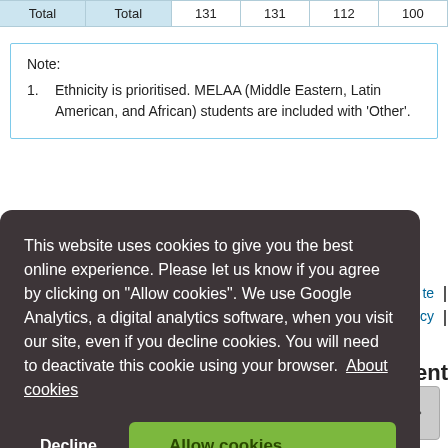| Total | Total | 131 | 131 | 112 | 100 |
| --- | --- | --- | --- | --- | --- |
Note:
1. Ethnicity is prioritised. MELAA (Middle Eastern, Latin American, and African) students are included with 'Other'.
This website uses cookies to give you the best online experience. Please let us know if you agree by clicking on "Allow cookies". We use Google Analytics, a digital analytics software, when you visit our site, even if you decline cookies. You will need to deactivate this cookie using your browser. About cookies